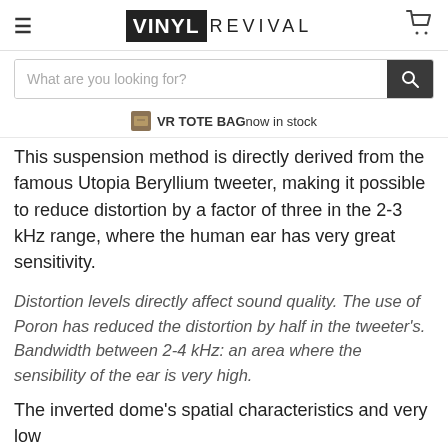VINYL REVIVAL
What are you looking for?
VR TOTE BAG now in stock
This suspension method is directly derived from the famous Utopia Beryllium tweeter, making it possible to reduce distortion by a factor of three in the 2-3 kHz range, where the human ear has very great sensitivity.
Distortion levels directly affect sound quality. The use of Poron has reduced the distortion by half in the tweeter's. Bandwidth between 2-4 kHz: an area where the sensibility of the ear is very high.
The inverted dome's spatial characteristics and very low